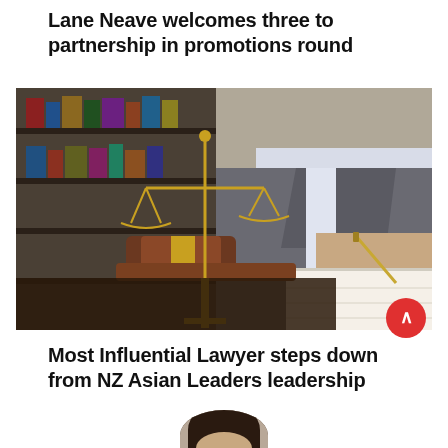Lane Neave welcomes three to partnership in promotions round
[Figure (photo): A lawyer in a grey suit writing in a notebook on a desk with a wooden gavel and golden scales of justice in the foreground, set in a law office environment]
Most Influential Lawyer steps down from NZ Asian Leaders leadership
[Figure (photo): Top of a person's head with dark hair, partially visible at the bottom of the page]